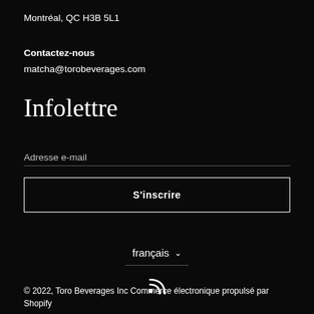Montréal, QC H3B 5L1
Contactez-nous
matcha@torobeverages.com
Infolettre
Adresse e-mail
S'inscrire
français
© 2022, Toro Beverages Inc Commerce électronique propulsé par Shopify